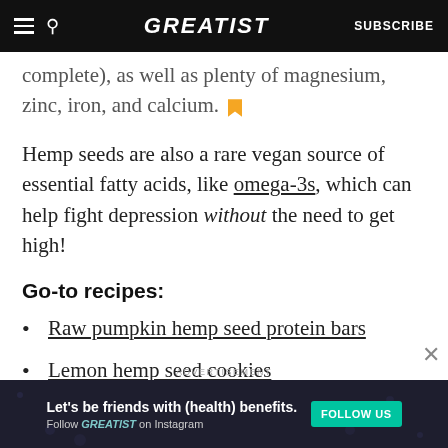GREATIST | SUBSCRIBE
complete), as well as plenty of magnesium, zinc, iron, and calcium.
Hemp seeds are also a rare vegan source of essential fatty acids, like omega-3s, which can help fight depression without the need to get high!
Go-to recipes:
Raw pumpkin hemp seed protein bars
Lemon hemp seed cookies
Hemp seed and kale pesto
ADVERTISEMENT
Let's be friends with (health) benefits. Follow GREATIST on Instagram | FOLLOW US